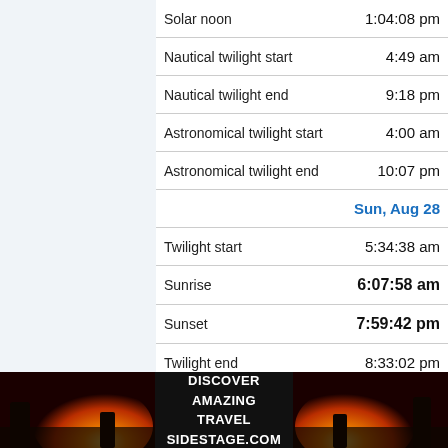| Event | Time |
| --- | --- |
| Solar noon | 1:04:08 pm |
| Nautical twilight start | 4:49 am |
| Nautical twilight end | 9:18 pm |
| Astronomical twilight start | 4:00 am |
| Astronomical twilight end | 10:07 pm |
| Sun, Aug 28 |  |
| Twilight start | 5:34:38 am |
| Sunrise | 6:07:58 am |
| Sunset | 7:59:42 pm |
| Twilight end | 8:33:02 pm |
| Day length | 13:51:44 |
[Figure (photo): Advertisement banner: two sunset/sunrise photos flanking text 'DISCOVER AMAZING TRAVEL SIDESTAGE.COM']